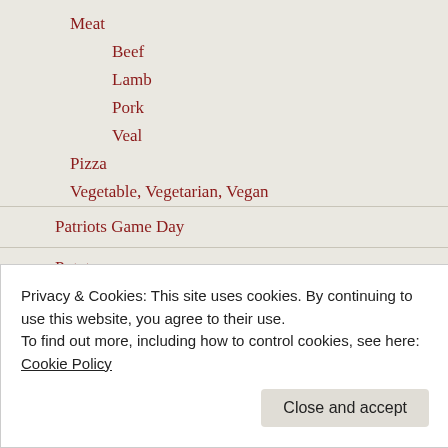Meat
Beef
Lamb
Pork
Veal
Pizza
Vegetable, Vegetarian, Vegan
Patriots Game Day
Potato
Recipes from Friends
Salads
Privacy & Cookies: This site uses cookies. By continuing to use this website, you agree to their use.
To find out more, including how to control cookies, see here: Cookie Policy
Close and accept